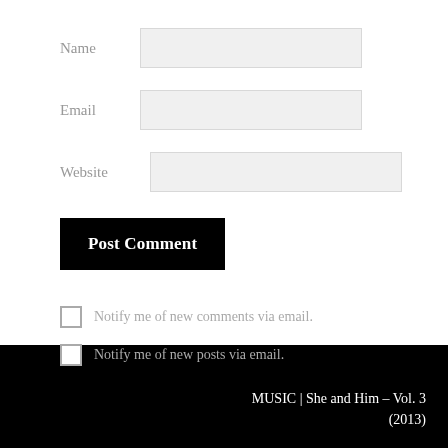Name
Email
Website
Post Comment
Notify me of new comments via email.
Notify me of new posts via email.
MUSIC | She and Him – Vol. 3 (2013)